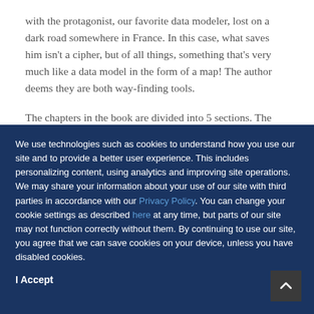with the protagonist, our favorite data modeler, lost on a dark road somewhere in France. In this case, what saves him isn't a cipher, but of all things, something that's very much like a data model in the form of a map! The author deems they are both way-finding tools.
The chapters in the book are divided into 5 sections. The
We use technologies such as cookies to understand how you use our site and to provide a better user experience. This includes personalizing content, using analytics and improving site operations. We may share your information about your use of our site with third parties in accordance with our Privacy Policy. You can change your cookie settings as described here at any time, but parts of our site may not function correctly without them. By continuing to use our site, you agree that we can save cookies on your device, unless you have disabled cookies.
I Accept